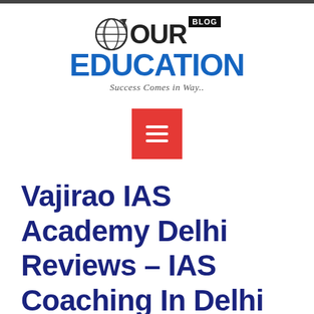[Figure (logo): Our Education Blog logo with globe icon, 'OUR BLOG EDUCATION' text in blue and black, tagline 'Success Comes in Way..']
[Figure (other): Red hamburger menu button with three white horizontal lines]
Vajirao IAS Academy Delhi Reviews – IAS Coaching In Delhi